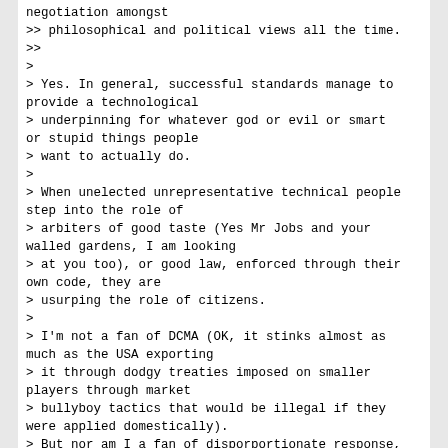negotiation amongst
>> philosophical and political views all the time.
>>
>
> Yes. In general, successful standards manage to provide a technological
> underpinning for whatever god or evil or smart or stupid things people
> want to actually do.
>
> When unelected unrepresentative technical people step into the role of
> arbiters of good taste (Yes Mr Jobs and your walled gardens, I am looking
> at you too), or good law, enforced through their own code, they are
> usurping the role of citizens.
>
> I'm not a fan of DCMA (OK, it stinks almost as much as the USA exporting
> it through dodgy treaties imposed on smaller players through market
> bullyboy tactics that would be illegal if they were applied domestically).
> But nor am I a fan of disporportionate response, killing the village to
> save the village, or waiving the rules for "our" bastards.
>